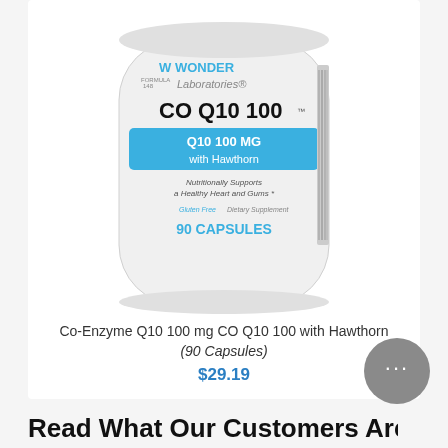[Figure (photo): White supplement bottle labeled Wonder Laboratories CO Q10 100, Q10 100 MG with Hawthorn, 90 Capsules]
Co-Enzyme Q10 100 mg CO Q10 100 with Hawthorn (90 Capsules)
$29.19
Read What Our Customers Are Saying
[Figure (other): Star rating: 4 out of 5 stars]
brian D., BC, United States